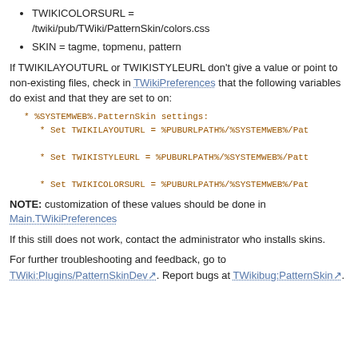TWIKICOLORSURL = /twiki/pub/TWiki/PatternSkin/colors.css
SKIN = tagme, topmenu, pattern
If TWIKILAYOUTURL or TWIKISTYLEURL don't give a value or point to non-existing files, check in TWikiPreferences that the following variables do exist and that they are set to on:
NOTE: customization of these values should be done in Main.TWikiPreferences
If this still does not work, contact the administrator who installs skins.
For further troubleshooting and feedback, go to TWiki:Plugins/PatternSkinDev. Report bugs at TWikibug:PatternSkin.